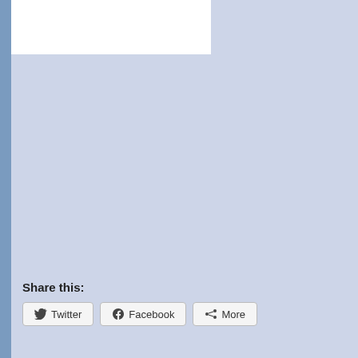Share this:
Twitter
Facebook
More